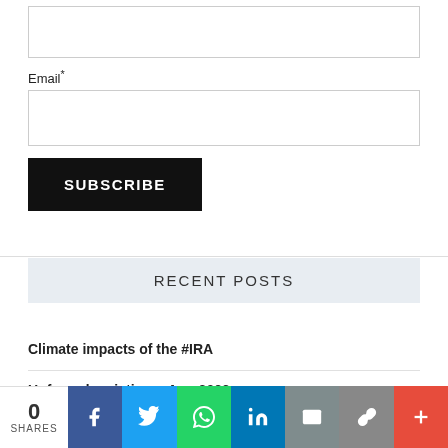[Figure (screenshot): Empty text input box (comment/name field)]
Email*
[Figure (screenshot): Empty email input box]
SUBSCRIBE
RECENT POSTS
Climate impacts of the #IRA
Unforced variations: Aug 2022
The CO₂ problem in six easy steps (2022 Update)
0 SHARES | Facebook | Twitter | WhatsApp | LinkedIn | Email | Link | More